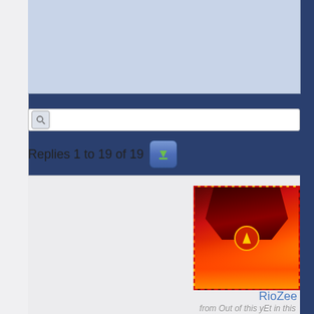[Figure (screenshot): Top banner area with light blue-grey background]
[Figure (screenshot): Search bar with magnifying glass icon]
Replies 1 to 19 of 19
[Figure (photo): User avatar image with dark red and fiery orange/yellow tones, appears to be a stylized character or rocket]
RioZee
from Out of this yEt in this World
11 years ago